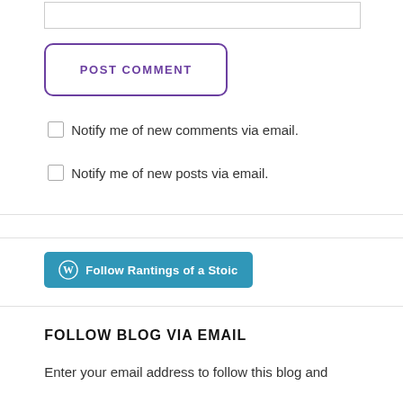POST COMMENT
Notify me of new comments via email.
Notify me of new posts via email.
Follow Rantings of a Stoic
FOLLOW BLOG VIA EMAIL
Enter your email address to follow this blog and receive notifications of new posts by email.